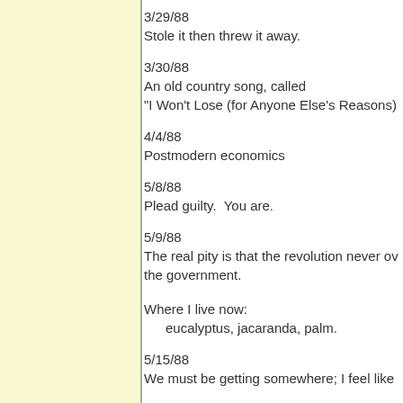3/29/88
Stole it then threw it away.
3/30/88
An old country song, called
"I Won't Lose (for Anyone Else's Reasons)
4/4/88
Postmodern economics
5/8/88
Plead guilty.  You are.
5/9/88
The real pity is that the revolution never ov the government.

Where I live now:
   eucalyptus, jacaranda, palm.
5/15/88
We must be getting somewhere; I feel like
5/25/88